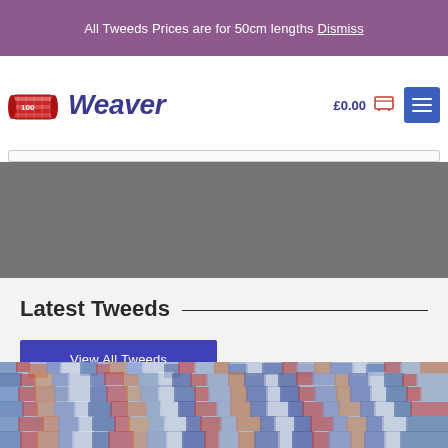All Tweeds Prices are for 50cm lengths Dismiss
[Figure (logo): The Tartan Weaver logo with a scroll of fabric graphic and italic blue text 'Weaver']
£0.00 cart icon
Latest Tweeds
View All Tweeds
[Figure (photo): Close-up photograph of colorful tweed fabric with blue, red, orange, and white woven threads]